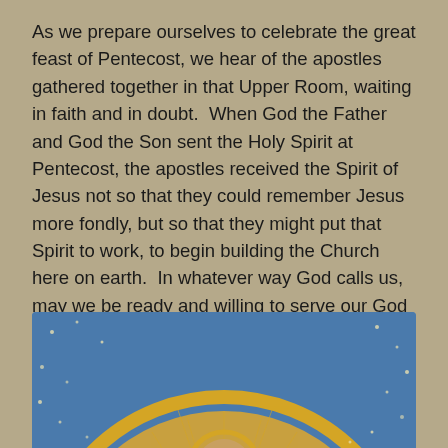As we prepare ourselves to celebrate the great feast of Pentecost, we hear of the apostles gathered together in that Upper Room, waiting in faith and in doubt.  When God the Father and God the Son sent the Holy Spirit at Pentecost, the apostles received the Spirit of Jesus not so that they could remember Jesus more fondly, but so that they might put that Spirit to work, to begin building the Church here on earth.  In whatever way God calls us, may we be ready and willing to serve our God by putting ourselves at the service of our brothers and sisters here on earth, and so for God's glory.
[Figure (illustration): A circular religious medallion or icon with a golden ring border on a blue starry background, showing a religious figure (likely Christ or a saint) with a halo, wearing robes, partially cropped at the bottom of the page.]